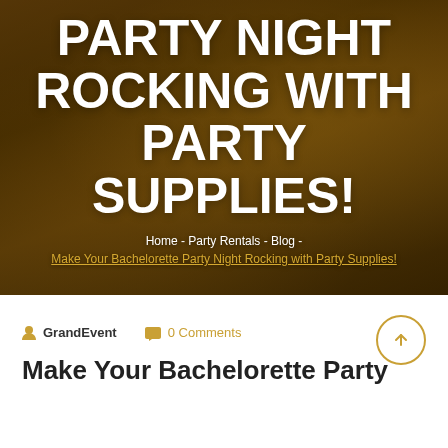[Figure (photo): Hero banner image showing an outdoor evening party/event under tent with warm golden lighting, overlaid with dark tinted overlay. Shows people at tables with draped fabric and string lights.]
PARTY NIGHT ROCKING WITH PARTY SUPPLIES!
Home - Party Rentals - Blog - Make Your Bachelorette Party Night Rocking with Party Supplies!
GrandEvent   0 Comments
Make Your Bachelorette Party